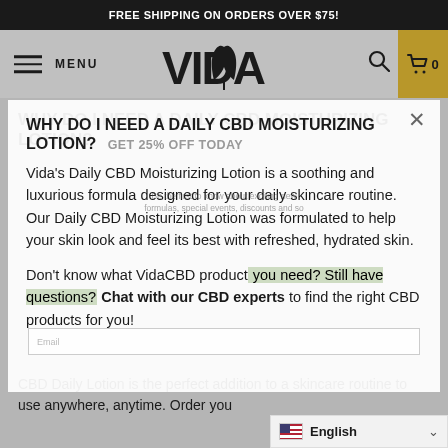FREE SHIPPING ON ORDERS OVER $75!
[Figure (logo): VIDA brand logo with leaf/cannabis icon]
WHY DO I NEED A DAILY CBD MOISTURIZING LOTION?
GET 25% OFF TODAY
Vida's Daily CBD Moisturizing Lotion is a soothing and luxurious formula designed for your daily skincare routine. Our Daily CBD Moisturizing Lotion was formulated to help your skin look and feel its best with refreshed, hydrated skin.
Don't know what VidaCBD product you need? Still have questions? Chat with our CBD experts to find the right CBD products for you!
CBD Daily Lotion is the perfect addition to a skincare routine to use anywhere, anytime. Order you